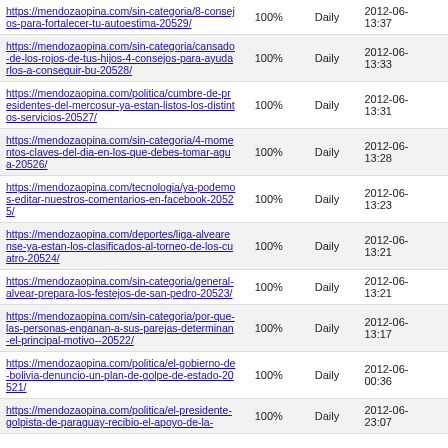| URL | Priority | Change Frequency | Last Modified |
| --- | --- | --- | --- |
| https://mendozaopina.com/sin-categoria/8-consejos-para-fortalecer-tu-autoestima-20529/ | 100% | Daily | 2012-06-13:37 |
| https://mendozaopina.com/sin-categoria/cansado-de-los-rojos-de-tus-hijos-4-consejos-para-ayudarlos-a-conseguir-bu-20528/ | 100% | Daily | 2012-06-13:33 |
| https://mendozaopina.com/politica/cumbre-de-presidentes-del-mercosur-ya-estan-listos-los-distintos-servicios-20527/ | 100% | Daily | 2012-06-13:31 |
| https://mendozaopina.com/sin-categoria/4-momentos-claves-del-dia-en-los-que-debes-tomar-agua-20526/ | 100% | Daily | 2012-06-13:28 |
| https://mendozaopina.com/tecnologia/ya-podemos-editar-nuestros-comentarios-en-facebook-20525/ | 100% | Daily | 2012-06-13:23 |
| https://mendozaopina.com/deportes/liga-alvearense-ya-estan-los-clasificados-al-torneo-de-los-cuatro-20524/ | 100% | Daily | 2012-06-13:21 |
| https://mendozaopina.com/sin-categoria/general-alvear-prepara-los-festejos-de-san-pedro-20523/ | 100% | Daily | 2012-06-13:21 |
| https://mendozaopina.com/sin-categoria/por-que-las-personas-enganan-a-sus-parejas-determinan-el-principal-motivo--20522/ | 100% | Daily | 2012-06-13:17 |
| https://mendozaopina.com/politica/el-gobierno-de-bolivia-denuncio-un-plan-de-golpe-de-estado-20521/ | 100% | Daily | 2012-06-00:36 |
| https://mendozaopina.com/politica/el-presidente-golpista-de-paraguay-recibio-el-apoyo-de-la-... | 100% | Daily | 2012-06-23:07 |